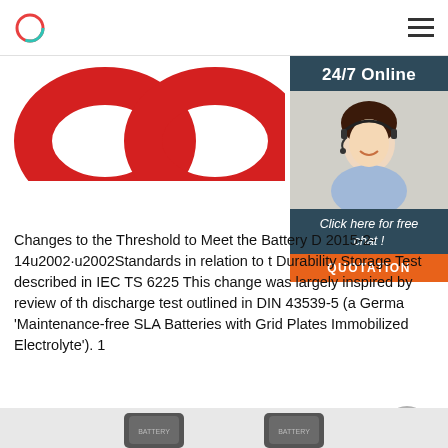Logo and navigation menu
[Figure (photo): Red oval chain links / rings product image, partially visible at top of page]
[Figure (photo): 24/7 Online customer support sidebar panel with a woman wearing a headset, 'Click here for free chat!' text, and an orange QUOTATION button]
Changes to the Threshold to Meet the Battery D 2015-2-14u2002·u2002Standards in relation to t Durability Storage Test described in IEC TS 6225 This change was largely inspired by review of th discharge test outlined in DIN 43539-5 (a Germa 'Maintenance-free SLA Batteries with Grid Plates Immobilized Electrolyte'). 1
Get Price
[Figure (photo): Battery product images at bottom of page, partially visible]